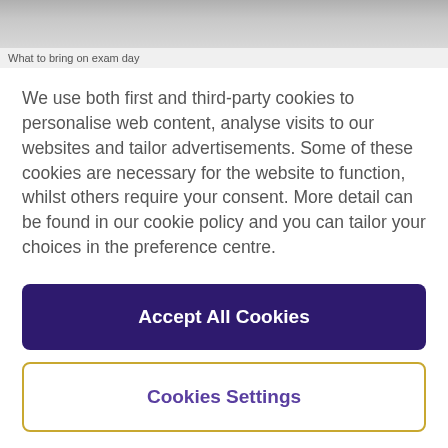[Figure (photo): Partially visible photo at top of page, blurred/cropped]
What to bring on exam day
We use both first and third-party cookies to personalise web content, analyse visits to our websites and tailor advertisements. Some of these cookies are necessary for the website to function, whilst others require your consent. More detail can be found in our cookie policy and you can tailor your choices in the preference centre.
Accept All Cookies
Cookies Settings